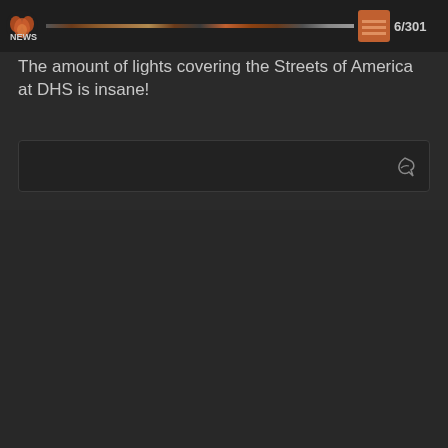[Social media interface header bar with logo and navigation icons]
The amount of lights covering the Streets of America at DHS is insane!
[Figure (screenshot): Reply/comment input box area with a small bird-like icon inside, set against a dark background]